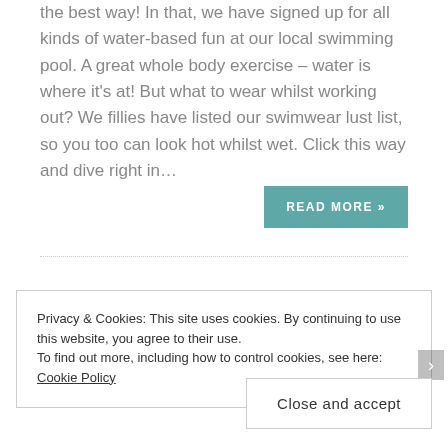the best way! In that, we have signed up for all kinds of water-based fun at our local swimming pool. A great whole body exercise – water is where it's at! But what to wear whilst working out? We fillies have listed our swimwear lust list, so you too can look hot whilst wet. Click this way and dive right in…
READ MORE »
Privacy & Cookies: This site uses cookies. By continuing to use this website, you agree to their use.
To find out more, including how to control cookies, see here: Cookie Policy
Close and accept